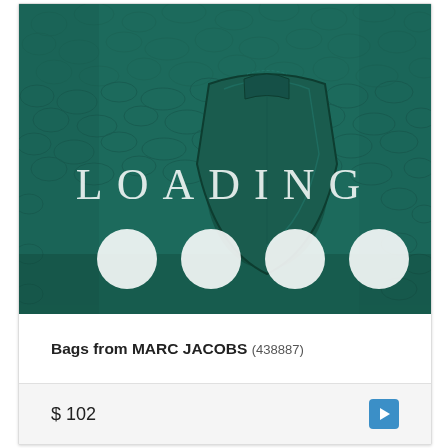[Figure (photo): Close-up photo of teal/dark green pebbled leather texture with a leather tag/loop visible in the center. Overlaid with large spaced white serif text reading 'LOADING' and four white circles below it as a loading indicator.]
Bags from MARC JACOBS (438887)
$ 102